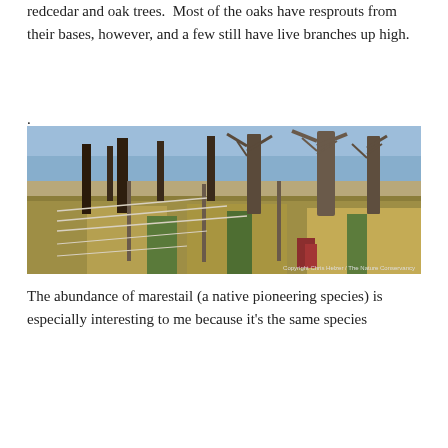redcedar and oak trees.  Most of the oaks have resprouts from their bases, however, and a few still have live branches up high.
.
[Figure (photo): Photograph of burned redcedar and oak trees with bare branches against a blue sky, with dense golden-brown grasses and some green vegetation below. A fence with horizontal wires runs through the scene. Copyright Chris Helzer / The Nature Conservancy.]
The abundance of marestail (a native pioneering species) is especially interesting to me because it's the same species